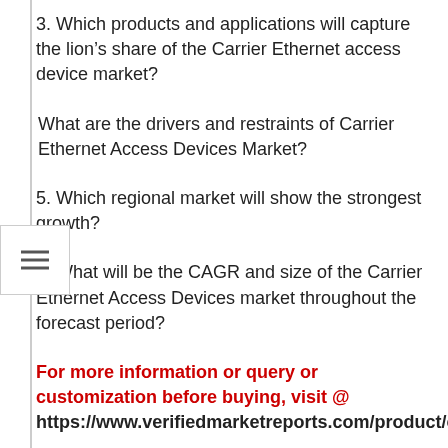3. Which products and applications will capture the lion’s share of the Carrier Ethernet access device market?
What are the drivers and restraints of Carrier Ethernet Access Devices Market?
5. Which regional market will show the strongest growth?
6. What will be the CAGR and size of the Carrier Ethernet Access Devices market throughout the forecast period?
For more information or query or customization before buying, visit @ https://www.verifiedmarketreports.com/product/car